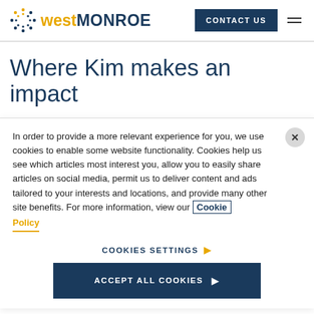[Figure (logo): West Monroe logo with dotted circle icon, 'west' in gold and 'MONROE' in dark navy uppercase]
CONTACT US
Where Kim makes an impact
West Monroe is employee-owned, and that's not just
In order to provide a more relevant experience for you, we use cookies to enable some website functionality. Cookies help us see which articles most interest you, allow you to easily share articles on social media, permit us to deliver content and ads tailored to your interests and locations, and provide many other site benefits. For more information, view our Cookie Policy
COOKIES SETTINGS ▶
ACCEPT ALL COOKIES ▶